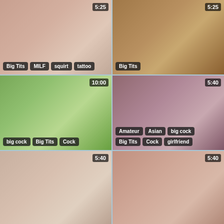[Figure (screenshot): Video thumbnail 1 with duration 5:25 and tags: Big Tits, MILF, squirt, tattoo]
[Figure (screenshot): Video thumbnail 2 with duration 5:25 and tag: Big Tits]
[Figure (screenshot): Video thumbnail 3 with duration 10:00 and tags: big cock, Big Tits, Cock]
[Figure (screenshot): Video thumbnail 4 with duration 5:40 and tags: Amateur, Asian, big cock, Big Tits, Cock, girlfriend]
[Figure (screenshot): Video thumbnail 5 with duration 5:40]
[Figure (screenshot): Video thumbnail 6 with duration 5:40]